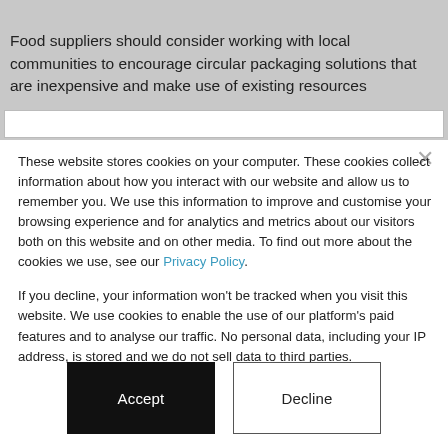Food suppliers should consider working with local communities to encourage circular packaging solutions that are inexpensive and make use of existing resources
These website stores cookies on your computer. These cookies collect information about how you interact with our website and allow us to remember you. We use this information to improve and customise your browsing experience and for analytics and metrics about our visitors both on this website and on other media. To find out more about the cookies we use, see our Privacy Policy.
If you decline, your information won't be tracked when you visit this website. We use cookies to enable the use of our platform's paid features and to analyse our traffic. No personal data, including your IP address, is stored and we do not sell data to third parties.